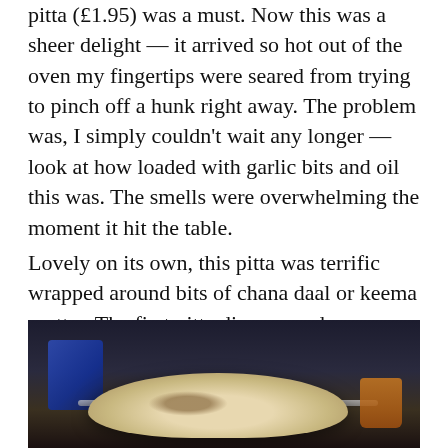pitta (£1.95) was a must. Now this was a sheer delight — it arrived so hot out of the oven my fingertips were seared from trying to pinch off a hunk right away. The problem was, I simply couldn't wait any longer — look at how loaded with garlic bits and oil this was. The smells were overwhelming the moment it hit the table.
Lovely on its own, this pitta was terrific wrapped around bits of chana daal or keema mutter. The first pitta disappeared so quickly we had to order a second.
[Figure (photo): A dark photograph of food on a table showing a flatbread/pitta bread with a metallic serving bar, a blue object on the left, and a small cup/bowl on the right with dark background.]